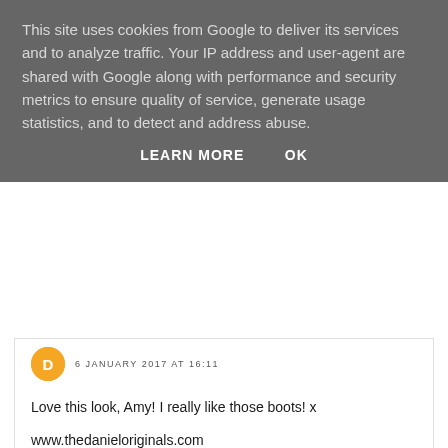This site uses cookies from Google to deliver its services and to analyze traffic. Your IP address and user-agent are shared with Google along with performance and security metrics to ensure quality of service, generate usage statistics, and to detect and address abuse.
LEARN MORE   OK
6 JANUARY 2017 AT 16:11
Love this look, Amy! I really like those boots! x
www.thedanieloriginals.com
REPLY
REPLIES
Call Me Amy
6 JANUARY 2017 AT 16:24